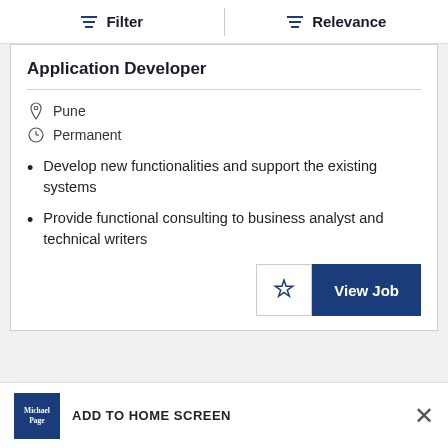Filter   Relevance
Application Developer
Pune
Permanent
Develop new functionalities and support the existing systems
Provide functional consulting to business analyst and technical writers
View Job
ADD TO HOME SCREEN